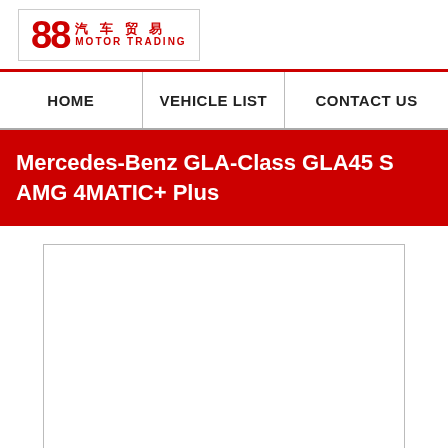[Figure (logo): 88 Motor Trading logo with Chinese characters 汽车贸易 and text MOTOR TRADING in red, enclosed in a bordered box]
HOME | VEHICLE LIST | CONTACT US
Mercedes-Benz GLA-Class GLA45 S AMG 4MATIC+ Plus
[Figure (photo): Vehicle image placeholder — empty white rectangle with grey border]